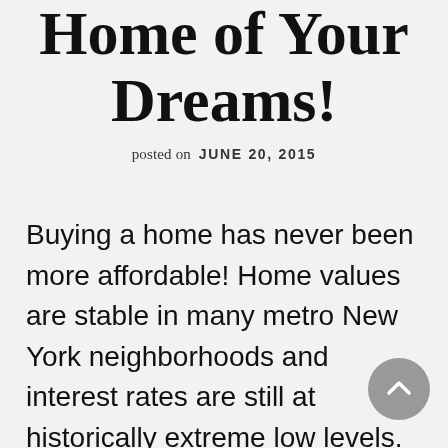You May Lose The Home of Your Dreams!
posted on  JUNE 20, 2015
Buying a home has never been more affordable! Home values are stable in many metro New York neighborhoods and interest rates are still at historically extreme low levels. This combination has resulted in people having dramatically more buying